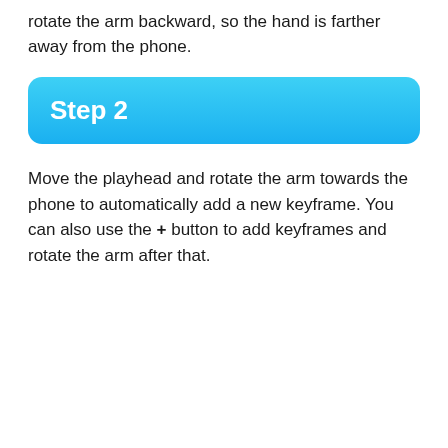rotate the arm backward, so the hand is farther away from the phone.
Step 2
Move the playhead and rotate the arm towards the phone to automatically add a new keyframe. You can also use the + button to add keyframes and rotate the arm after that.